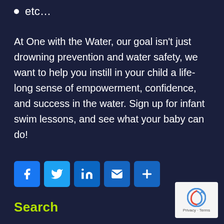etc…
At One with the Water, our goal isn't just drowning prevention and water safety, we want to help you instill in your child a life-long sense of empowerment, confidence, and success in the water. Sign up for infant swim lessons, and see what your baby can do!
[Figure (infographic): Social media sharing icons: Facebook, Twitter, LinkedIn, Email, and a plus/share button]
Search
[Figure (logo): Google reCAPTCHA logo with Privacy and Terms text]